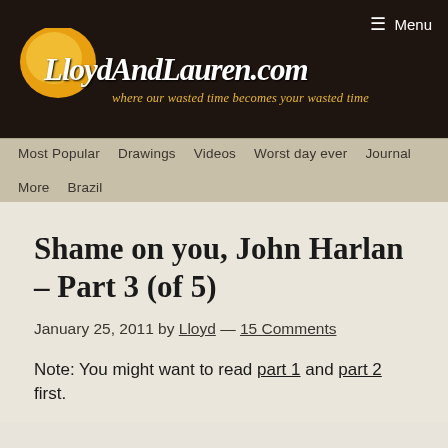Menu
[Figure (logo): LloydAndLauren.com logo with yellow oval and handwritten-style text. Tagline: where our wasted time becomes your wasted time]
Most Popular   Drawings   Videos   Worst day ever   Journal   More   Brazil
Shame on you, John Harlan – Part 3 (of 5)
January 25, 2011 by Lloyd — 15 Comments
Note: You might want to read part 1 and part 2 first.